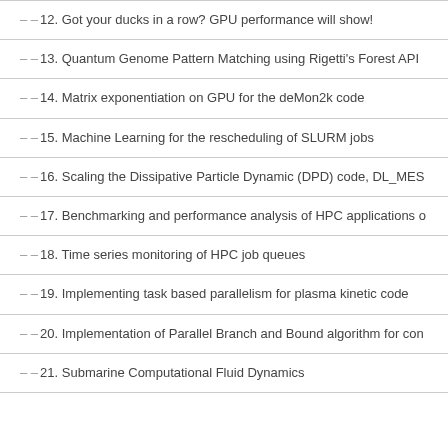– – 12. Got your ducks in a row? GPU performance will show!
– – 13. Quantum Genome Pattern Matching using Rigetti's Forest API
– – 14. Matrix exponentiation on GPU for the deMon2k code
– – 15. Machine Learning for the rescheduling of SLURM jobs
– – 16. Scaling the Dissipative Particle Dynamic (DPD) code, DL_MES
– – 17. Benchmarking and performance analysis of HPC applications o
– – 18. Time series monitoring of HPC job queues
– – 19. Implementing task based parallelism for plasma kinetic code
– – 20. Implementation of Parallel Branch and Bound algorithm for con
– – 21. Submarine Computational Fluid Dynamics